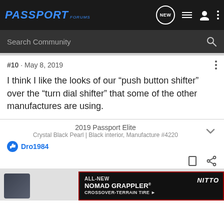PASSPORT FORUMS — NEW (icon) list (icon) user (icon) dots
Search Community
#10 · May 8, 2019
I think I like the looks of our "push button shifter" over the "turn dial shifter" that some of the other manufactures are using.
2019 Passport Elite
Crystal Black Pearl | Black interior, Manufacture #4220
Dro1984
[Figure (screenshot): Ad banner: ALL-NEW NOMAD GRAPPLER CROSSOVER-TERRAIN TIRE (Nitto)]